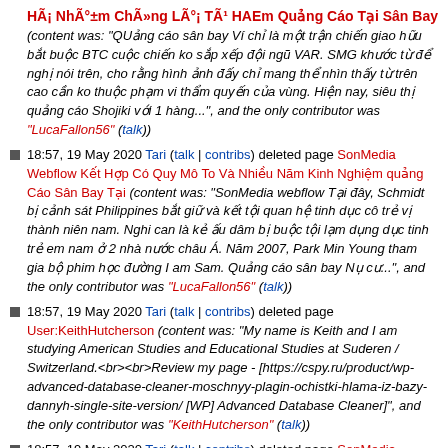HÃ¡ NhÃ°±m ChÃ»ng LÃ°¡ TÃ¹ HAEm Quảng Cáo Tại Sân Bay (content was: "QUảng cáo sân bay Ví chỉ là một trận chiến giao hữu bắt buộc BTC cuộc chiến ko sắp xếp đội ngũ VAR. SMG khước từ để nghị nói trên, cho rằng hình ảnh đấy chỉ mang thể nhìn thấy từ trên cao cần ko thuộc phạm vi thẩm quyến của vùng. Hiện nay, siêu thị quảng cáo Shojiki với 1 hàng...", and the only contributor was "LucaFallon56" (talk))
18:57, 19 May 2020 Tari (talk | contribs) deleted page SonMedia Webflow Kết Hợp Có Quy Mô To Và Nhiều Năm Kinh Nghiệm quảng Cáo Sân Bay Tại (content was: "SonMedia webflow Tại đây, Schmidt bị cảnh sát Philippines bắt giữ và kết tội quan hệ tình dục cô trẻ vị thành niên nam. Nghi can là kẻ ấu dâm bị buộc tội lạm dụng dục tình trẻ em nam ở 2 nhà nước châu Á. Năm 2007, Park Min Young tham gia bộ phim học đường I am Sam. Quảng cáo sân bay Nụ cư...", and the only contributor was "LucaFallon56" (talk))
18:57, 19 May 2020 Tari (talk | contribs) deleted page User:KeithHutcherson (content was: "My name is Keith and I am studying American Studies and Educational Studies at Suderen / Switzerland.<br><br>Review my page - [https://cspy.ru/product/wp-advanced-database-cleaner-moschnyy-plagin-ochistki-hlama-iz-bazy-dannyh-single-site-version/ [WP] Advanced Database Cleaner]", and the only contributor was "KeithHutcherson" (talk))
18:57, 19 May 2020 Tari (talk | contribs) deleted page SonMedia Webflow QuÃ°£ng CÃ¡o SÃ¢n Bay LÃ HÃ¬nh ThÃ» c KhÃ¡ ThÃ¢n